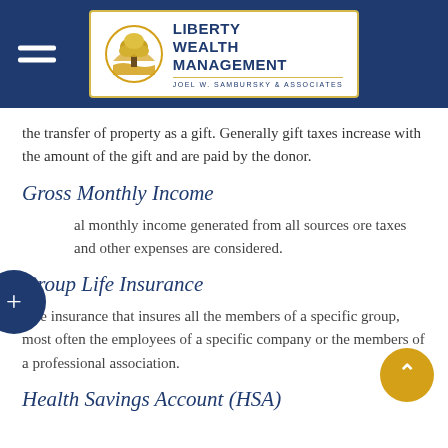Liberty Wealth Management — Joel W. Sambursky & Associates
the transfer of property as a gift. Generally gift taxes increase with the amount of the gift and are paid by the donor.
Gross Monthly Income
al monthly income generated from all sources ore taxes and other expenses are considered.
Group Life Insurance
Life insurance that insures all the members of a specific group, most often the employees of a specific company or the members of a professional association.
Health Savings Account (HSA)